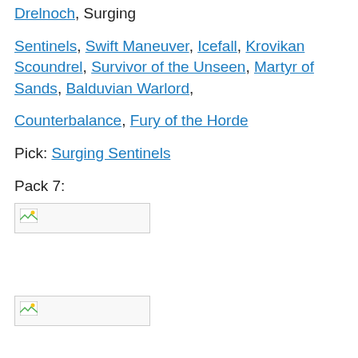Drelnoch, Surging
Sentinels, Swift Maneuver, Icefall, Krovikan Scoundrel, Survivor of the Unseen, Martyr of Sands, Balduvian Warlord,
Counterbalance, Fury of the Horde
Pick: Surging Sentinels
Pack 7:
[Figure (other): Broken image placeholder (small card image)]
[Figure (other): Broken image placeholder (small card image)]